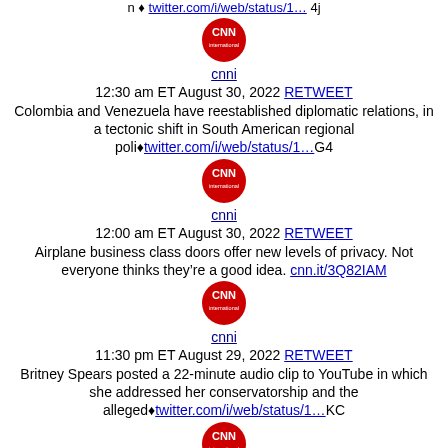twitter.com/i/web/status/1… 4j
[Figure (logo): CNN International logo (red circle)]
cnni
12:30 am ET August 30, 2022 RETWEET
Colombia and Venezuela have reestablished diplomatic relations, in a tectonic shift in South American regional poli🔷twitter.com/i/web/status/1…G4
[Figure (logo): CNN International logo (red circle)]
cnni
12:00 am ET August 30, 2022 RETWEET
Airplane business class doors offer new levels of privacy. Not everyone thinks they're a good idea. cnn.it/3Q82IAM
[Figure (logo): CNN International logo (red circle)]
cnni
11:30 pm ET August 29, 2022 RETWEET
Britney Spears posted a 22-minute audio clip to YouTube in which she addressed her conservatorship and the alleged🔷twitter.com/i/web/status/1…KC
[Figure (logo): CNN International logo (red circle)]
cnni
11:00 pm ET August 29, 2022 RETWEET
Archive
January 2012